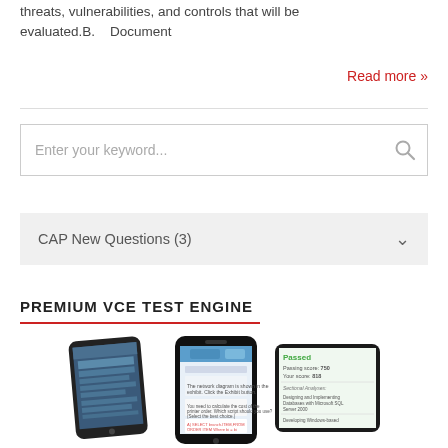threats, vulnerabilities, and controls that will be evaluated.B.    Document
Read more »
Enter your keyword...
CAP New Questions  (3)
PREMIUM VCE TEST ENGINE
[Figure (photo): Three mobile phones/smartphones displaying test engine application screens with exam questions and results]